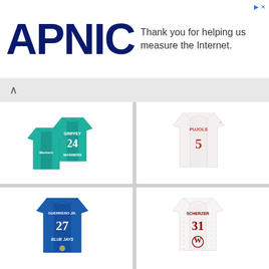[Figure (logo): APNIC logo in dark navy blue bold text]
Thank you for helping us measure the Internet.
[Figure (photo): Ken Griffey Jr Seattle Mariners teal jersey #24]
Ken Griffey Jr Seattle Mariners Youth 8-20 Teal
$79.95
★★★★½ (122)
[Figure (photo): MLB Albert Pujols St. Louis Cardinals white replica jersey #5]
MLB Albert Pujols St. Louis Cardinals Replica Home
$159.99
★★★★★ (19)
[Figure (photo): Guerrero Jr Blue Jays jersey #27]
[Figure (photo): Scherzer Nationals jersey #31]